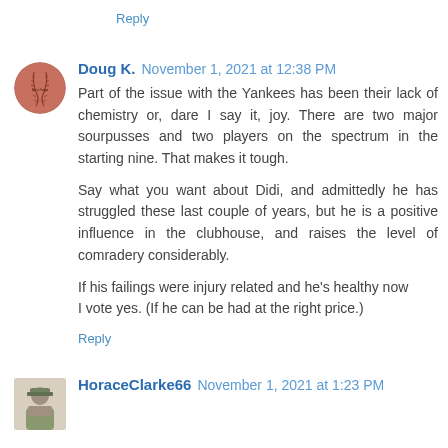Reply
Doug K.  November 1, 2021 at 12:38 PM
Part of the issue with the Yankees has been their lack of chemistry or, dare I say it, joy. There are two major sourpusses and two players on the spectrum in the starting nine. That makes it tough.

Say what you want about Didi, and admittedly he has struggled these last couple of years, but he is a positive influence in the clubhouse, and raises the level of comradery considerably.

If his failings were injury related and he's healthy now I vote yes. (If he can be had at the right price.)
Reply
HoraceClarke66  November 1, 2021 at 1:23 PM